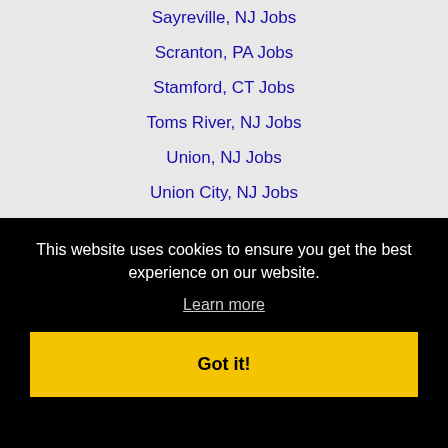Sayreville, NJ Jobs
Scranton, PA Jobs
Stamford, CT Jobs
Toms River, NJ Jobs
Union, NJ Jobs
Union City, NJ Jobs
Vineland, NJ Jobs
Wayne, NJ Jobs
West Babylon, NY Jobs
This website uses cookies to ensure you get the best experience on our website.
Learn more
Got it!